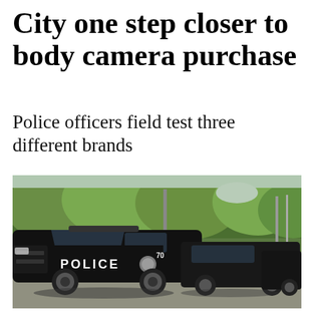City one step closer to body camera purchase
Police officers field test three different brands
[Figure (photo): A row of black police SUVs (Ford Police Interceptor Utility vehicles) parked in a lot, with green trees in the background. The lead vehicle has 'POLICE' lettered on the door and a badge emblem, with the number '70' visible on the door pillar.]